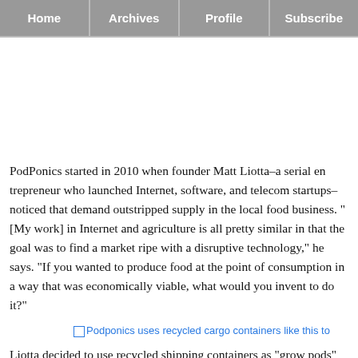Home | Archives | Profile | Subscribe
PodPonics started in 2010 when founder Matt Liotta–a serial entrepreneur who launched Internet, software, and telecom startups–noticed that demand outstripped supply in the local food business. "[My work] in Internet and agriculture is all pretty similar in that the goal was to find a market ripe with a disruptive technology," he says. "If you wanted to produce food at the point of consumption in a way that was economically viable, what would you invent to do it?"
[Figure (photo): Podponics uses recycled cargo containers like this to grow food]
Liotta decided to use recycled shipping containers as "grow pods" filled with organic hydroponic nutrient solutions; computer-controlled environments that regulate temperature, humidity, pH levels, and CO2; and lights